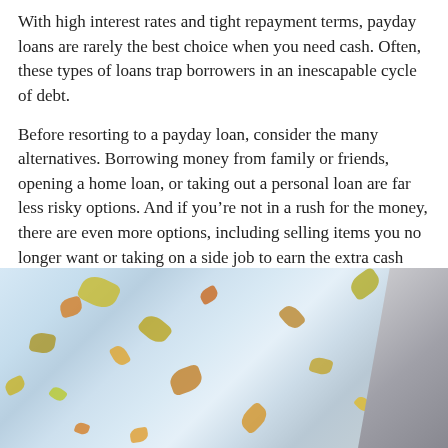With high interest rates and tight repayment terms, payday loans are rarely the best choice when you need cash. Often, these types of loans trap borrowers in an inescapable cycle of debt.
Before resorting to a payday loan, consider the many alternatives. Borrowing money from family or friends, opening a home loan, or taking out a personal loan are far less risky options. And if you’re not in a rush for the money, there are even more options, including selling items you no longer want or taking on a side job to earn the extra cash you need.
]]> https://fastpaths.com/will-a-loan-on-my-401k-affect-my-mortgage/ Tue, 09 Aug 2022 04:14:55 +0000 https://fastpaths.com/will-a-loan-on-my-401k-affect-my-mortgage/
[Figure (photo): Blurred outdoor autumn/nature photo showing light blue-grey tones with colorful leaf-like spots and a grey diagonal strip on the right side.]